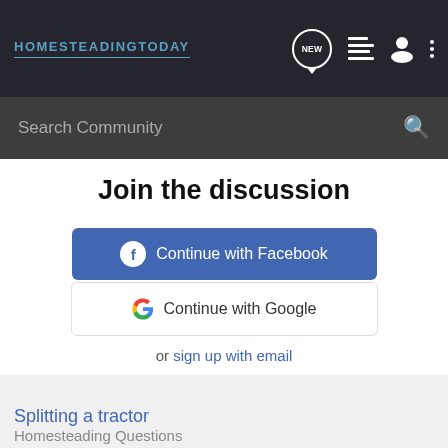HOMESTEADING TODAY
Search Community
Join the discussion
Continue with Facebook
Continue with Google
or sign up with email
Recommended Reading
Splitting a tractor
Homesteading Questions